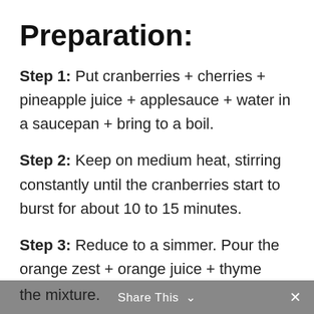Preparation:
Step 1: Put cranberries + cherries + pineapple juice + applesauce + water in a saucepan + bring to a boil.
Step 2: Keep on medium heat, stirring constantly until the cranberries start to burst for about 10 to 15 minutes.
Step 3: Reduce to a simmer. Pour the orange zest + orange juice + thyme over the mixture.
Share This  ×